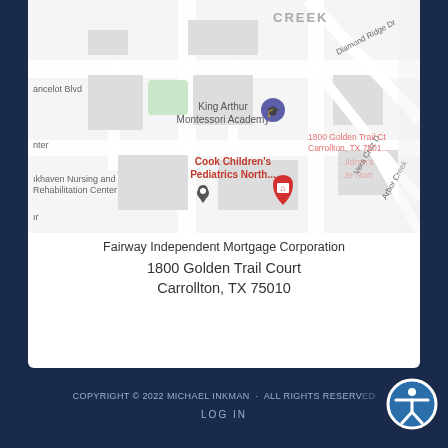[Figure (map): Google Maps screenshot showing the area around 1800 Golden Trail Court, Carrollton, TX 75010. Landmarks visible include King Arthur Montessori Academy, Cook Children's Pediatrics North, Oakhaven Nursing and Rehabilitation Center, Lancelot Blvd, Diamond Ridge Dr, Arbor Creek, Vera Cruz Dr. A red pin marks the location.]
Fairway Independent Mortgage Corporation
1800 Golden Trail Court
Carrollton, TX 75010
COPYRIGHT © 2022 MICHAEL INKMAN · ALL RIGHTS RESERVED
LOG IN